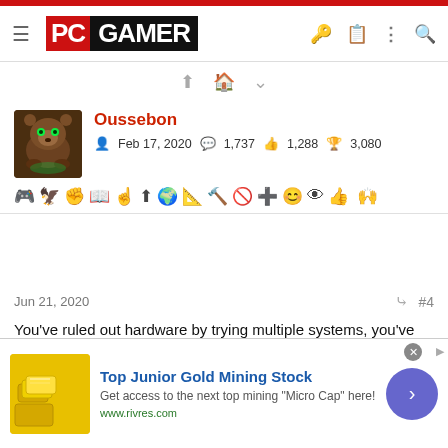PC GAMER
[Figure (screenshot): Navigation scroll hint icons at top of page]
[Figure (photo): User avatar: bear with green glowing eyes]
Oussebon
Feb 17, 2020  1,737  1,288  3,080
[Figure (screenshot): User achievement/badge icons row]
Jun 21, 2020  #4
You've ruled out hardware by trying multiple systems, you've ruled out software (clean install). Assuming you didn't then reinstall some other software than the game client and the games, that doesn't leave much to suggest unfortunately. You've tried different driver versions too.
[Figure (screenshot): Advertisement: Top Junior Gold Mining Stock. Get access to the next top mining "Micro Cap" here! www.rivres.com]